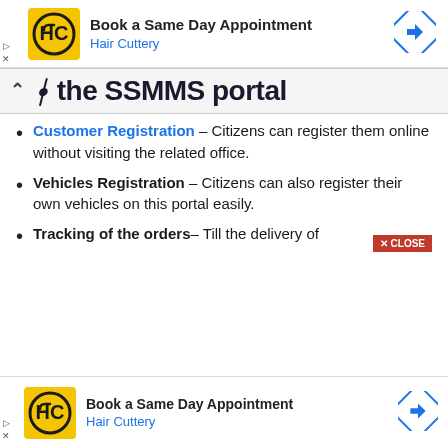[Figure (infographic): Top advertisement banner for Hair Cuttery: yellow HC logo on left, 'Book a Same Day Appointment' headline, 'Hair Cuttery' brand in blue, blue diamond arrow icon on right. Small play/close controls on far left.]
y the SSMMS portal
Customer Registration – Citizens can register them online without visiting the related office.
Vehicles Registration – Citizens can also register their own vehicles on this portal easily.
Tracking of the orders– Till the delivery of
[Figure (infographic): Bottom advertisement banner for Hair Cuttery: yellow HC logo on left, 'Book a Same Day Appointment' headline, 'Hair Cuttery' brand in blue, blue diamond arrow icon on right. Small play/close controls on far left.]